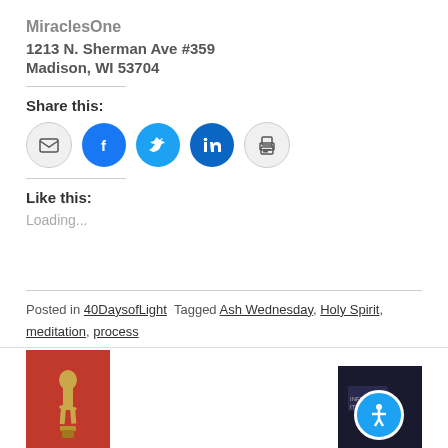MiraclesOne
1213 N. Sherman Ave #359
Madison, WI 53704
Share this:
[Figure (infographic): Social sharing icons: email, Facebook, Twitter, LinkedIn, print]
Like this:
Loading...
Posted in 40DaysofLight  Tagged Ash Wednesday, Holy Spirit, meditation, process
[Figure (photo): Left: Gold Oscar statue on red background; Right: Dark image with accessibility icon overlay]